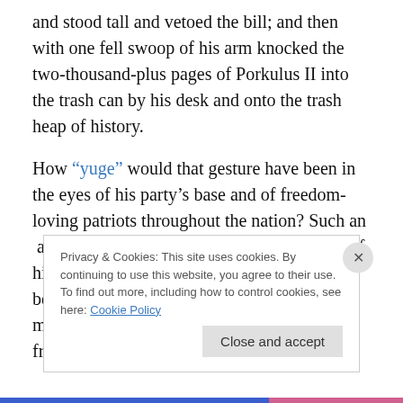and stood tall and vetoed the bill; and then with one fell swoop of his arm knocked the two-thousand-plus pages of Porkulus II into the trash can by his desk and onto the trash heap of history.

How “yuge” would that gesture have been in the eyes of his party’s base and of freedom-loving patriots throughout the nation? Such an act would’ve become the defining moment of his presidency, and he would have gone on to become a legend, like Ronald Reagan, in the minds of conservative Republicans and freedom-loving Americans.
Privacy & Cookies: This site uses cookies. By continuing to use this website, you agree to their use.
To find out more, including how to control cookies, see here: Cookie Policy